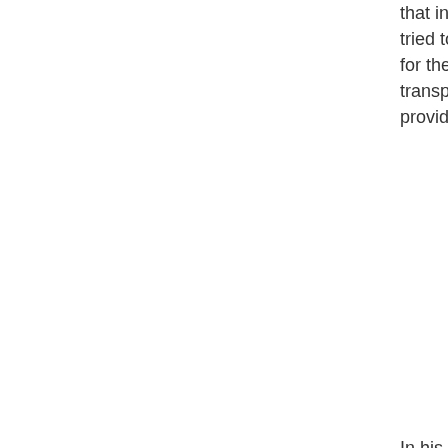that initially we even tried to bill France for the cost of the transport planes we provided.*
In his SOTU address President Obama tries to take credit for helping allies fight al Qaeda. In January he was trying to bill them. As I